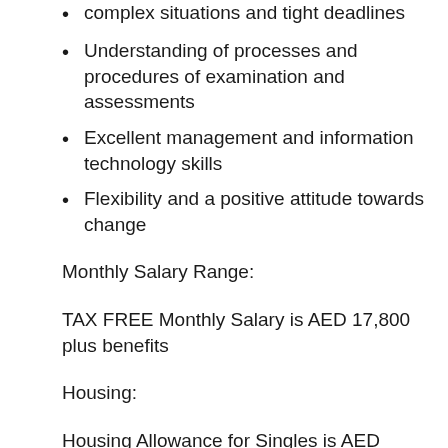complex situations and tight deadlines
Understanding of processes and procedures of examination and assessments
Excellent management and information technology skills
Flexibility and a positive attitude towards change
Monthly Salary Range:
TAX FREE Monthly Salary is AED 17,800 plus benefits
Housing:
Housing Allowance for Singles is AED 10,400